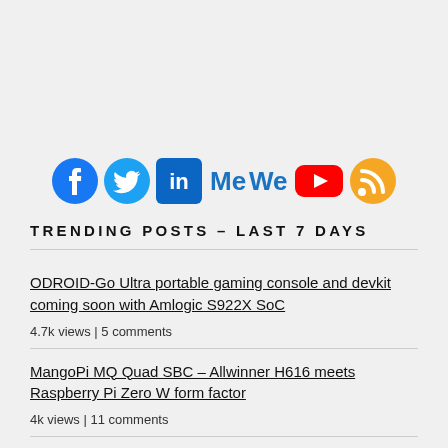[Figure (infographic): Social media icons row: Facebook (blue circle), Twitter (blue bird), LinkedIn (blue square with 'in'), MeWe (blue text logo), YouTube (red play button), RSS (orange/yellow feed icon)]
TRENDING POSTS – LAST 7 DAYS
ODROID-Go Ultra portable gaming console and devkit coming soon with Amlogic S922X SoC
4.7k views | 5 comments
MangoPi MQ Quad SBC – Allwinner H616 meets Raspberry Pi Zero W form factor
4k views | 11 comments